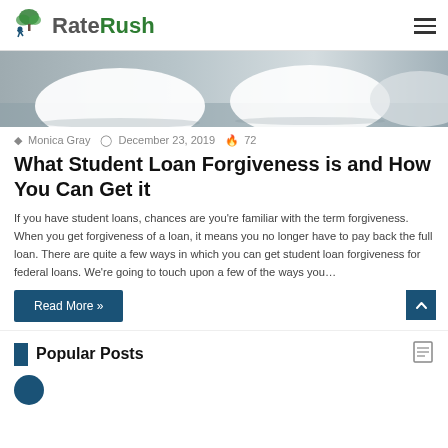RateRush
[Figure (photo): Hero image showing curved white furniture/reception desk on a grey floor]
Monica Gray  December 23, 2019  72
What Student Loan Forgiveness is and How You Can Get it
If you have student loans, chances are you’re familiar with the term forgiveness. When you get forgiveness of a loan, it means you no longer have to pay back the full loan. There are quite a few ways in which you can get student loan forgiveness for federal loans. We’re going to touch upon a few of the ways you…
Read More »
Popular Posts